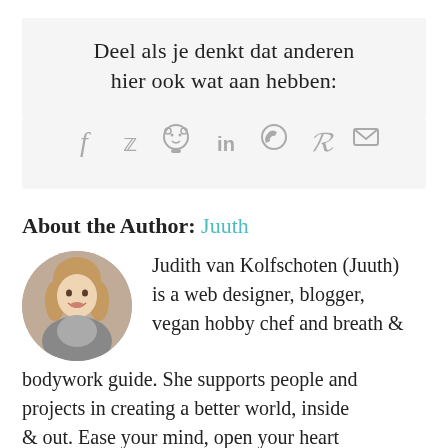Deel als je denkt dat anderen hier ook wat aan hebben:
[Figure (infographic): Social share icons: Facebook, Twitter, Reddit, LinkedIn, WhatsApp, Pinterest, Email]
About the Author: Juuth
[Figure (photo): Circular portrait photo of Judith van Kolfschoten (Juuth), a woman with blonde hair smiling outdoors]
Judith van Kolfschoten (Juuth) is a web designer, blogger, vegan hobby chef and breath & bodywork guide. She supports people and projects in creating a better world, inside & out. Ease your mind, open your heart